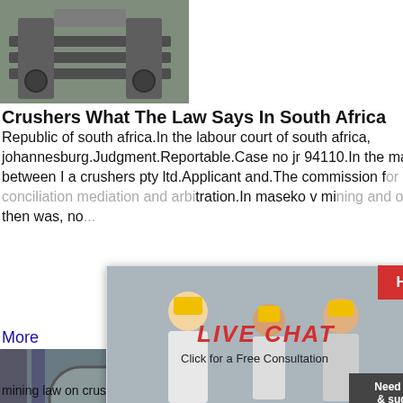[Figure (photo): Industrial crusher/conveyor machinery at a mining site]
Crushers What The Law Says In South Africa
Republic of south africa.In the labour court of south africa, johannesburg.Judgment.Reportable.Case no jr 94110.In the matter between I a crushers pty ltd.Applicant and.The commission for conciliation mediation and arbitration.In maseko v mining and others then was, no...
More
[Figure (photo): Live chat popup with workers in hard hats and text LIVE CHAT Click for a Free Consultation with Chat now and Chat later buttons]
[Figure (photo): Industrial mill/crusher equipment in a factory]
Crushers What The Law Says In Sou...
Crushers What The Law Says In South A...
mining law on crushers crushers what th...
[Figure (photo): Customer service woman with headset smiling]
Need questions & suggestion?
Chat Now
Enquire